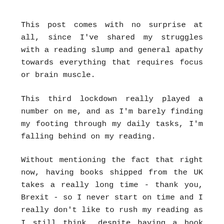This post comes with no surprise at all, since I've shared my struggles with a reading slump and general apathy towards everything that requires focus or brain muscle.
This third lockdown really played a number on me, and as I'm barely finding my footing through my daily tasks, I'm falling behind on my reading.
Without mentioning the fact that right now, having books shipped from the UK takes a really long time - thank you, Brexit - so I never start on time and I really don't like to rush my reading as I still think, despite having a book blog, a connection with Publishers, a Bookstagram and a writing project in the works, that books are for fun.
So this is why I've decided to turn this Book Club into a bi-monthly read-along. This means we all have more time to read